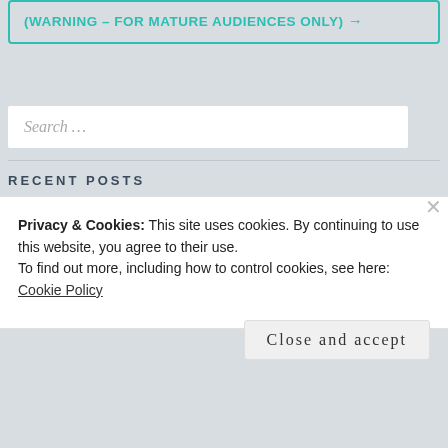(WARNING – FOR MATURE AUDIENCES ONLY) →
Search ...
RECENT POSTS
Privacy & Cookies: This site uses cookies. By continuing to use this website, you agree to their use.
To find out more, including how to control cookies, see here:
Cookie Policy
Close and accept